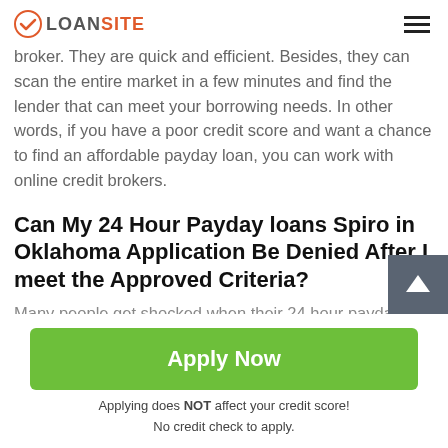LOANSITE
broker. They are quick and efficient. Besides, they can scan the entire market in a few minutes and find the lender that can meet your borrowing needs. In other words, if you have a poor credit score and want a chance to find an affordable payday loan, you can work with online credit brokers.
Can My 24 Hour Payday loans Spiro in Oklahoma Application Be Denied After I meet the Approved Criteria?
Many people get shocked when their 24 hour payday loans
Apply Now
Applying does NOT affect your credit score!
No credit check to apply.